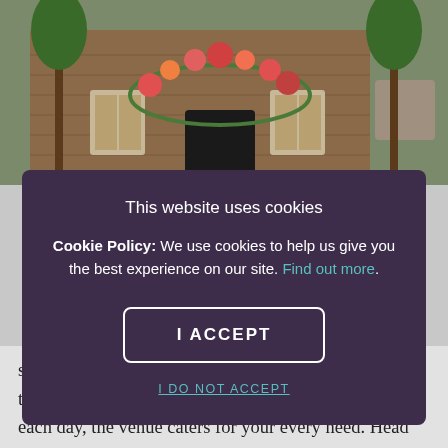[Figure (photo): Photograph of a brick building exterior with a floral arch above the entrance, trees visible on either side]
This website uses cookies
Cookie Policy: We use cookies to help us give you the best experience on our site. Find out more.
I ACCEPT
I DO NOT ACCEPT
seasonal dishes and inventive cocktails. Open early in the morning and shutting up shop close to midnight each day, the venue caters for your every need. Head